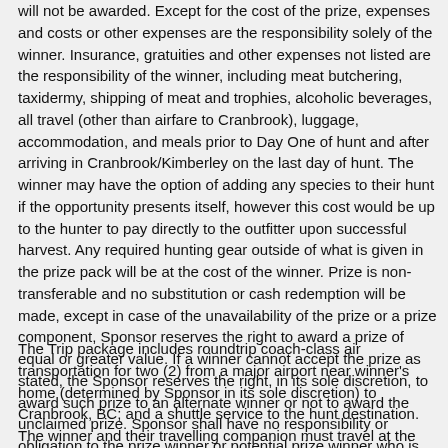will not be awarded. Except for the cost of the prize, expenses and costs or other expenses are the responsibility solely of the winner. Insurance, gratuities and other expenses not listed are the responsibility of the winner, including meat butchering, taxidermy, shipping of meat and trophies, alcoholic beverages, all travel (other than airfare to Cranbrook), luggage, accommodation, and meals prior to Day One of hunt and after arriving in Cranbrook/Kimberley on the last day of hunt. The winner may have the option of adding any species to their hunt if the opportunity presents itself, however this cost would be up to the hunter to pay directly to the outfitter upon successful harvest. Any required hunting gear outside of what is given in the prize pack will be at the cost of the winner. Prize is non-transferable and no substitution or cash redemption will be made, except in case of the unavailability of the prize or a prize component, Sponsor reserves the right to award a prize of equal or greater value. If a winner cannot accept the prize as stated, the Sponsor reserves the right, in its sole discretion, to award such prize to an alternate winner or not to award the unclaimed prize. Sponsor shall have no responsibility or obligation to the prize winner or potential prize winner who is unable or unavailable to accept or utilize prize as described herein. The winner and their guest must sign a liability waiver with Grizzly Basin Outfitters.
The Trip package includes roundtrip coach-class air transportation for two (2) from a major airport near winner's home (determined by Sponsor in its sole discretion) to Cranbrook, BC; and a shuttle service to the hunt destination. The winner and their travelling companion must travel at the same time and from the same city. Trip is subject to availability and blackout dates. Travel must be roundtrip.